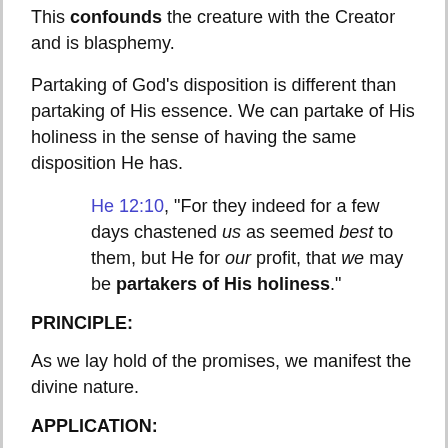This confounds the creature with the Creator and is blasphemy.
Partaking of God's disposition is different than partaking of His essence. We can partake of His holiness in the sense of having the same disposition He has.
He 12:10, “For they indeed for a few days chastened us as seemed best to them, but He for our profit, that we may be partakers of His holiness.”
PRINCIPLE:
As we lay hold of the promises, we manifest the divine nature.
APPLICATION: